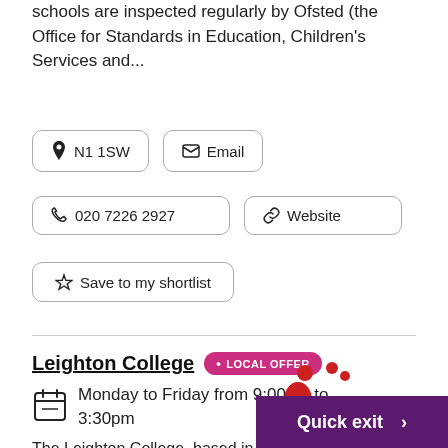Schools are inspected regularly by Ofsted (the Office for Standards in Education, Children's Services and...
📍 N1 1SW
✉ Email
📞 020 7226 2927
🔗 Website
☆ Save to my shortlist
Leighton College • LOCAL OFFER
Monday to Friday from 9:00am to 3:30pm
The Leighton College, based in North London, provides a two year
[Figure (logo): Elfrida Rathbone logo with red figure illustration]
Quick exit >